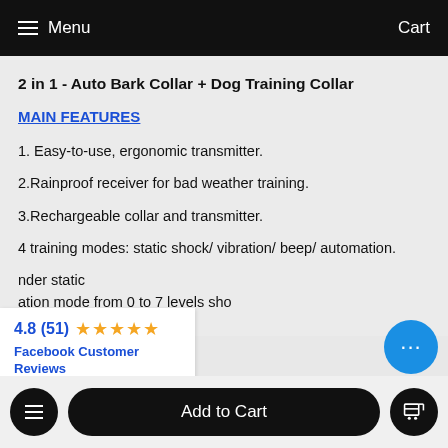Menu  Cart
2 in 1 - Auto Bark Collar + Dog Training Collar
MAIN FEATURES
1. Easy-to-use, ergonomic transmitter.
2.Rainproof receiver for bad weather training.
3.Rechargeable collar and transmitter.
4 training modes: static shock/ vibration/ beep/ automation.
nder static
ation mode from 0 to 7 levels sho
the mode is inhibited.
4.8 (51) Facebook Customer Reviews
Add to Cart